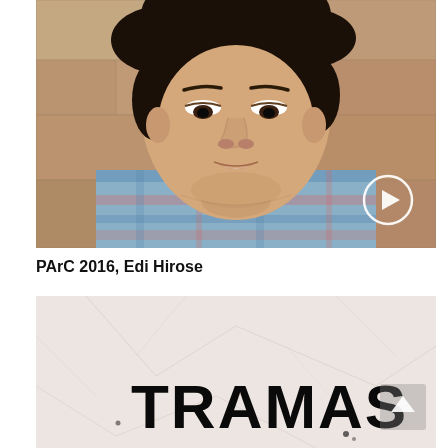[Figure (photo): Close-up photo of a young Asian man in a plaid shirt, looking down slightly, with a stone/brick wall in the background. A circular play button icon is visible in the lower right corner of the image.]
PArC 2016, Edi Hirose
[Figure (screenshot): Video thumbnail with a light pinkish-white cracked/geometric background and large bold black text reading 'TRAMAS'. An upward arrow (scroll-to-top) button is visible in the lower right.]